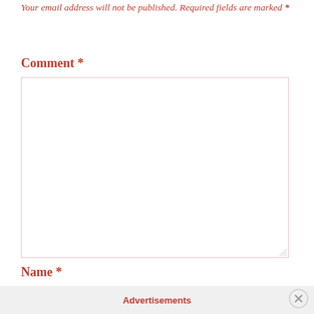Your email address will not be published. Required fields are marked *
Comment *
[Figure (other): Empty comment text area input box with resize handle]
Name *
Advertisements